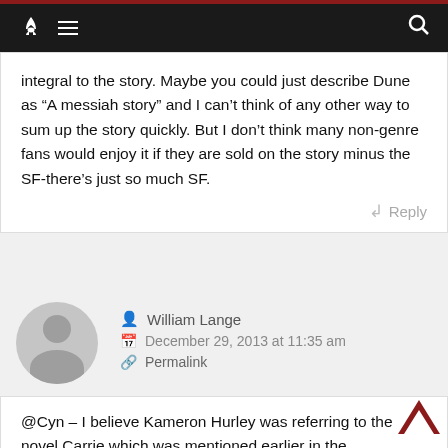Navigation bar with rocket logo, menu icon, and search icon
integral to the story. Maybe you could just describe Dune as “A messiah story” and I can’t think of any other way to sum up the story quickly. But I don’t think many non-genre fans would enjoy it if they are sold on the story minus the SF-there’s just so much SF.
Reply
[Figure (illustration): User avatar placeholder - grey circle with person silhouette]
William Lange
December 29, 2013 at 11:35 am
Permalink
@Cyn – I believe Kameron Hurley was referring to the novel Carrie which was mentioned earlier in the